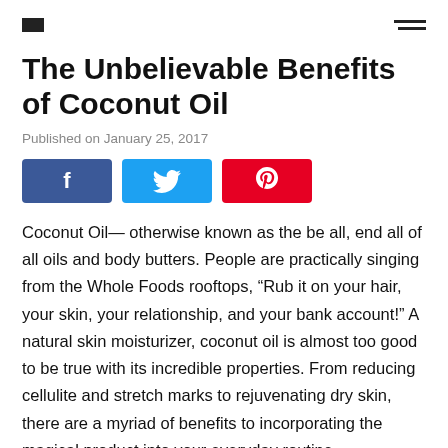nav logo and hamburger menu
The Unbelievable Benefits of Coconut Oil
Published on January 25, 2017
[Figure (other): Social sharing buttons: Facebook (blue), Twitter (light blue), Pinterest (red)]
Coconut Oil— otherwise known as the be all, end all of all oils and body butters. People are practically singing from the Whole Foods rooftops, “Rub it on your hair, your skin, your relationship, and your bank account!” A natural skin moisturizer, coconut oil is almost too good to be true with its incredible properties. From reducing cellulite and stretch marks to rejuvenating dry skin, there are a myriad of benefits to incorporating the magical product into your everyday routine.